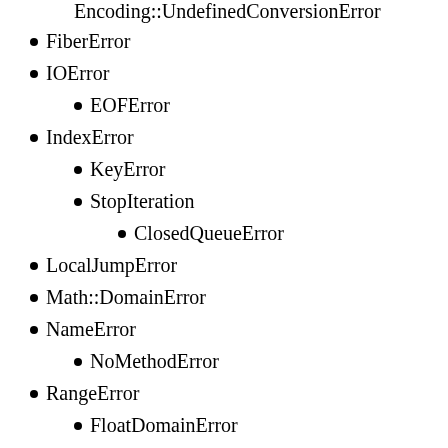Encoding::UndefinedConversionError (partial, top)
FiberError
IOError
EOFError
IndexError
KeyError
StopIteration
ClosedQueueError
LocalJumpError
Math::DomainError
NameError
NoMethodError
RangeError
FloatDomainError
RegexpError
RuntimeError [ default for plain raise ]
FrozenError
SystemCallError
Errno::* (partial, bottom)